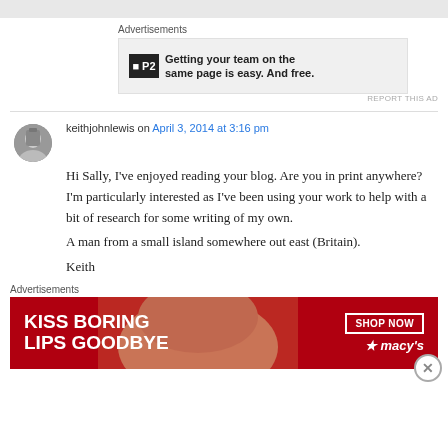[Figure (other): Top gray decorative bar]
Advertisements
[Figure (other): P2 advertisement banner: Getting your team on the same page is easy. And free.]
REPORT THIS AD
keithjohnlewis on April 3, 2014 at 3:16 pm
Hi Sally, I’ve enjoyed reading your blog. Are you in print anywhere? I’m particularly interested as I’ve been using your work to help with a bit of research for some writing of my own.
A man from a small island somewhere out east (Britain).
Keith
Advertisements
[Figure (other): Macy's advertisement banner: KISS BORING LIPS GOODBYE, SHOP NOW]